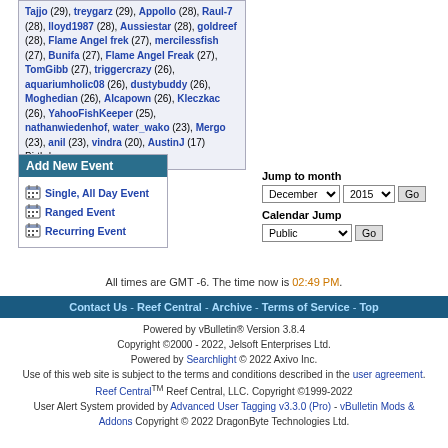Tajjo (29), treygarz (29), Appollo (28), Raul-7 (28), lloyd1987 (28), Aussiestar (28), goldreef (28), Flame Angel frek (27), mercilessfish (27), Bunifa (27), Flame Angel Freak (27), TomGibb (27), triggercrazy (26), aquariumholic08 (26), dustybuddy (26), Moghedian (26), Alcapown (26), Kleczkac (26), YahooFishKeeper (25), nathanwiedenhof, water_wako (23), Mergo (23), anil (23), vindra (20), AustinJ (17) Birthdays
Add New Event
Single, All Day Event
Ranged Event
Recurring Event
Jump to month
Calendar Jump
All times are GMT -6. The time now is 02:49 PM.
Contact Us - Reef Central - Archive - Terms of Service - Top
Powered by vBulletin® Version 3.8.4
Copyright ©2000 - 2022, Jelsoft Enterprises Ltd.
Powered by Searchlight © 2022 Axivo Inc.
Use of this web site is subject to the terms and conditions described in the user agreement.
Reef Central™ Reef Central, LLC. Copyright ©1999-2022
User Alert System provided by Advanced User Tagging v3.3.0 (Pro) - vBulletin Mods & Addons Copyright © 2022 DragonByte Technologies Ltd.